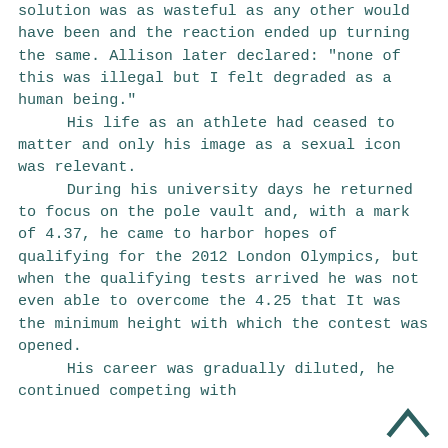solution was as wasteful as any other would have been and the reaction ended up turning the same. Allison later declared: "none of this was illegal but I felt degraded as a human being."
	His life as an athlete had ceased to matter and only his image as a sexual icon was relevant.
	During his university days he returned to focus on the pole vault and, with a mark of 4.37, he came to harbor hopes of qualifying for the 2012 London Olympics, but when the qualifying tests arrived he was not even able to overcome the 4.25 that It was the minimum height with which the contest was opened.
	His career was gradually diluted, he continued competing with
[Figure (other): Back to top arrow icon in bottom right corner]